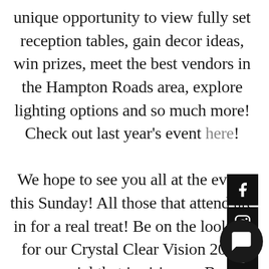unique opportunity to view fully set reception tables, gain decor ideas, win prizes, meet the best vendors in the Hampton Roads area, explore lighting options and so much more! Check out last year's event here! We hope to see you all at the event this Sunday! All those that attend are in for a real treat! Be on the lookout for our Crystal Clear Vision 2015 commercial that is airing on Bravo, TLC, We and E! You'll get a glimpse at some of the gorgeous